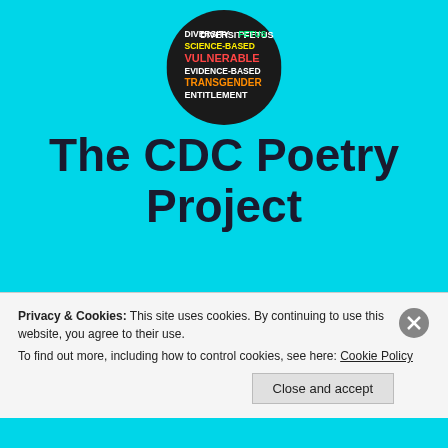[Figure (logo): Circular dark badge with banned CDC words: DIVERSITY FETUS in white/green, SCIENCE-BASED in yellow, VULNERABLE in red/orange, EVIDENCE-BASED in white, TRANSGENDER in orange/red, ENTITLEMENT in white]
The CDC Poetry Project
Poems using the 7 words forbidden in Centers for Disease Control and Prevention documents for 2018 – Sarah Freligh and Amy Lemmon, editors
Privacy & Cookies: This site uses cookies. By continuing to use this website, you agree to their use.
To find out more, including how to control cookies, see here: Cookie Policy
Close and accept